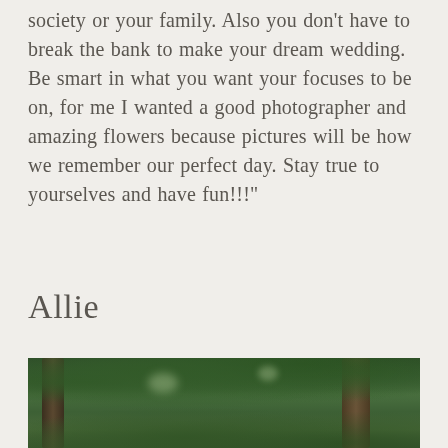society or your family. Also you don't have to break the bank to make your dream wedding. Be smart in what you want your focuses to be on, for me I wanted a good photographer and amazing flowers because pictures will be how we remember our perfect day. Stay true to yourselves and have fun!!!”
Allie
[Figure (photo): Outdoor nature photograph showing green leafy trees and tree trunks with dense foliage, taken from below looking up.]